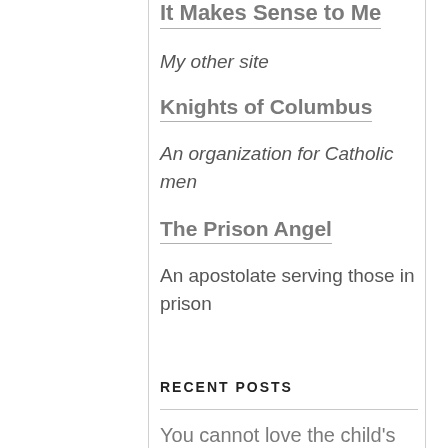It Makes Sense to Me
My other site
Knights of Columbus
An organization for Catholic men
The Prison Angel
An apostolate serving those in prison
RECENT POSTS
You cannot love the child's home and then kill the